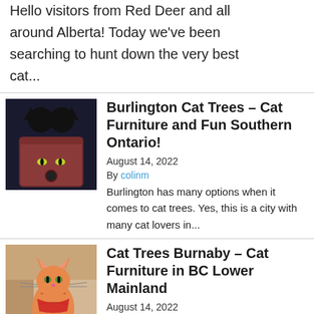Hello visitors from Red Deer and all around Alberta! Today we've been searching to hunt down the very best cat...
[Figure (photo): A black cat in a dark red carrier, glowing eyes visible through the carrier opening]
Burlington Cat Trees – Cat Furniture and Fun Southern Ontario!
August 14, 2022
By colinm
Burlington has many options when it comes to cat trees. Yes, this is a city with many cat lovers in...
[Figure (photo): An orange tabby cat wearing a red bandana, sitting indoors]
Cat Trees Burnaby – Cat Furniture in BC Lower Mainland
August 14, 2022
By colinm